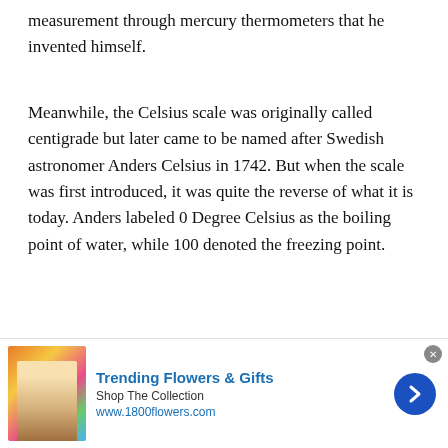measurement through mercury thermometers that he invented himself.
Meanwhile, the Celsius scale was originally called centigrade but later came to be named after Swedish astronomer Anders Celsius in 1742. But when the scale was first introduced, it was quite the reverse of what it is today. Anders labeled 0 Degree Celsius as the boiling point of water, while 100 denoted the freezing point.
However, after Celsius passed away, Swedish taxonomist Carl Linnaeus flipped it to the opposite, the same as it is used today.
[Figure (other): Video player overlay showing 'No compatible source was found for this' message with grey background]
[Figure (other): Advertisement banner for 1800flowers.com: 'Trending Flowers & Gifts — Shop The Collection — www.1800flowers.com' with flower image and blue arrow button]